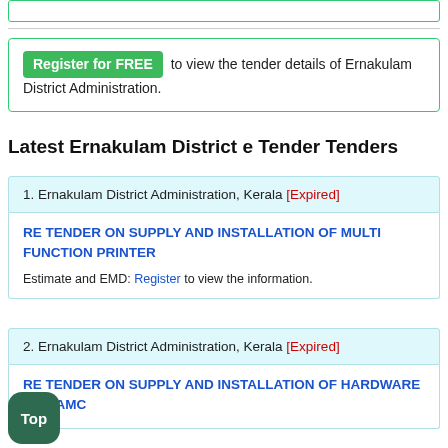Register for FREE to view the tender details of Ernakulam District Administration.
Latest Ernakulam District e Tender Tenders
1. Ernakulam District Administration, Kerala [Expired] — RE TENDER ON SUPPLY AND INSTALLATION OF MULTI FUNCTION PRINTER — Estimate and EMD: Register to view the information.
2. Ernakulam District Administration, Kerala [Expired] — RE TENDER ON SUPPLY AND INSTALLATION OF HARDWARE AND AMC